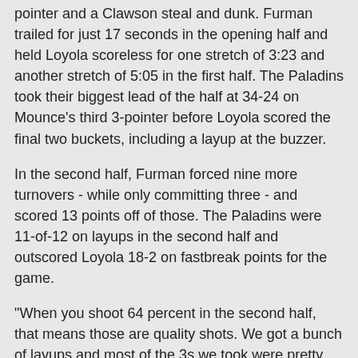pointer and a Clawson steal and dunk. Furman trailed for just 17 seconds in the opening half and held Loyola scoreless for one stretch of 3:23 and another stretch of 5:05 in the first half. The Paladins took their biggest lead of the half at 34-24 on Mounce's third 3-pointer before Loyola scored the final two buckets, including a layup at the buzzer.
In the second half, Furman forced nine more turnovers - while only committing three - and scored 13 points off of those. The Paladins were 11-of-12 on layups in the second half and outscored Loyola 18-2 on fastbreak points for the game.
"When you shoot 64 percent in the second half, that means those are quality shots. We got a bunch of layups and most of the 3s we took were pretty open," Richey said. "I thought our ability to take care of the ball was critical, to go an entire game with only nine turnovers. Because of that, they only scored two points in transition. Outscoring them 18-2 in transition was a huge difference in the game."
Another key for Furman Friday was limiting Loyola big man Cameron Krutwig, a first-team All-Missouri Valley pick last